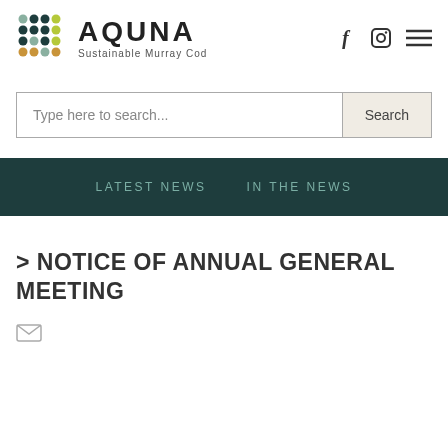[Figure (logo): AQUNA Sustainable Murray Cod logo with colorful dot grid and text]
Type here to search...
Search
LATEST NEWS    IN THE NEWS
> NOTICE OF ANNUAL GENERAL MEETING